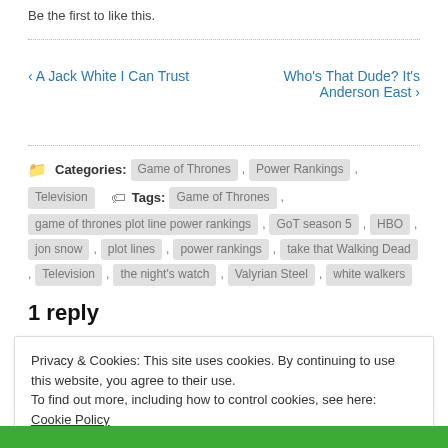Be the first to like this.
‹ A Jack White I Can Trust
Who's That Dude? It's Anderson East ›
Categories: Game of Thrones , Power Rankings , Television   Tags: Game of Thrones , game of thrones plot line power rankings , GoT season 5 , HBO , jon snow , plot lines , power rankings , take that Walking Dead , Television , the night's watch , Valyrian Steel , white walkers
1 reply
Privacy & Cookies: This site uses cookies. By continuing to use this website, you agree to their use.
To find out more, including how to control cookies, see here: Cookie Policy